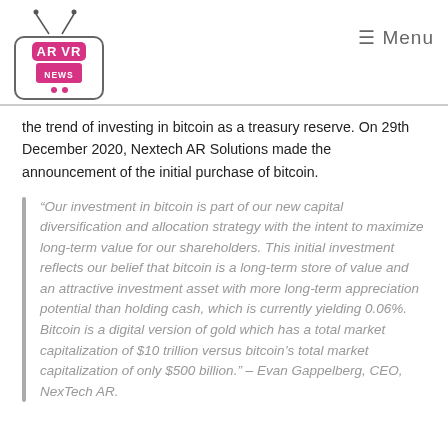[Figure (logo): AR VR News TV logo with antenna, pink/magenta branding]
≡ Menu
the trend of investing in bitcoin as a treasury reserve. On 29th December 2020, Nextech AR Solutions made the announcement of the initial purchase of bitcoin.
“Our investment in bitcoin is part of our new capital diversification and allocation strategy with the intent to maximize long-term value for our shareholders. This initial investment reflects our belief that bitcoin is a long-term store of value and an attractive investment asset with more long-term appreciation potential than holding cash, which is currently yielding 0.06%. Bitcoin is a digital version of gold which has a total market capitalization of $10 trillion versus bitcoin’s total market capitalization of only $500 billion.” – Evan Gappelberg, CEO, NexTech AR.